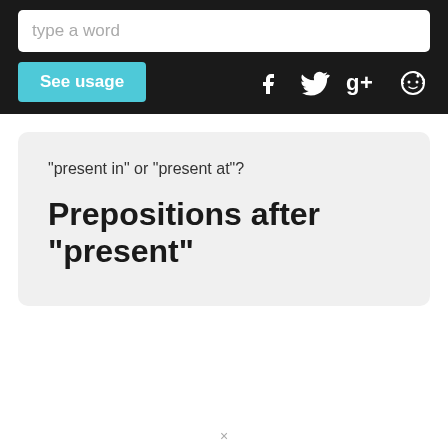[Figure (screenshot): Website header with search input placeholder 'type a word', a 'See usage' button, and social media icons for Facebook, Twitter, Google+, and Reddit]
"present in" or "present at"?
Prepositions after "present"